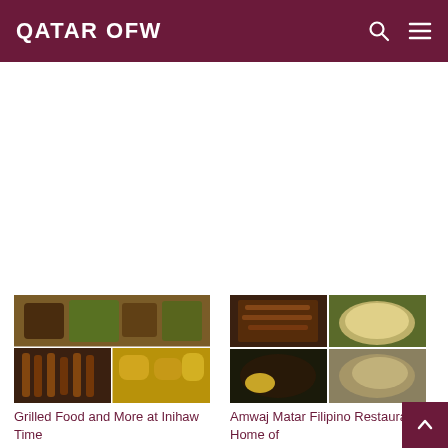QATAR OFW
[Figure (photo): Grilled food collage showing grilled meats on banana leaf, skewers, and fried items]
Grilled Food and More at Inihaw Time
[Figure (photo): Filipino food collage showing various dishes including rice, meat, and egg dishes]
Amwaj Matar Filipino Restaurant: Home of